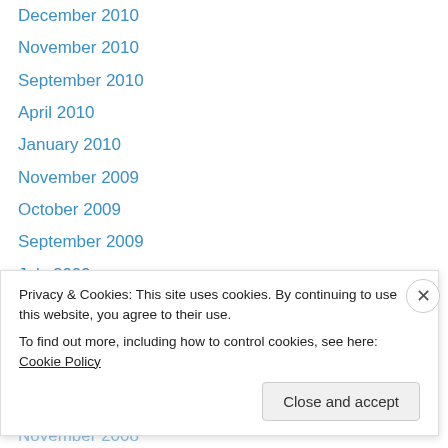December 2010
November 2010
September 2010
April 2010
January 2010
November 2009
October 2009
September 2009
July 2009
June 2009
March 2009
January 2009
December 2008
November 2008
Privacy & Cookies: This site uses cookies. By continuing to use this website, you agree to their use. To find out more, including how to control cookies, see here: Cookie Policy